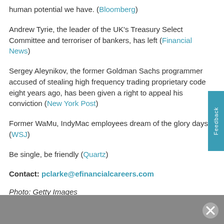human potential we have. (Bloomberg)
Andrew Tyrie, the leader of the UK's Treasury Select Committee and terroriser of bankers, has left (Financial News)
Sergey Aleynikov, the former Goldman Sachs programmer accused of stealing high frequency trading proprietary code eight years ago, has been given a right to appeal his conviction (New York Post)
Former WaMu, IndyMac employees dream of the glory days (WSJ)
Be single, be friendly (Quartz)
Contact: pclarke@efinancialcareers.com
Photo: Getty Images